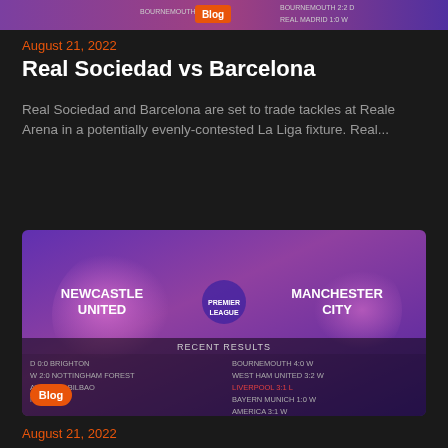[Figure (screenshot): Top partial blog card image showing sports match graphic with Blog badge, partially cropped]
August 21, 2022
Real Sociedad vs Barcelona
Real Sociedad and Barcelona are set to trade tackles at Reale Arena in a potentially evenly-contested La Liga fixture. Real...
[Figure (screenshot): Blog card image for Newcastle United vs Manchester City showing team names, Premier League branding, and recent results table with Blog badge overlay]
August 21, 2022
Newcastle United vs Manchester City